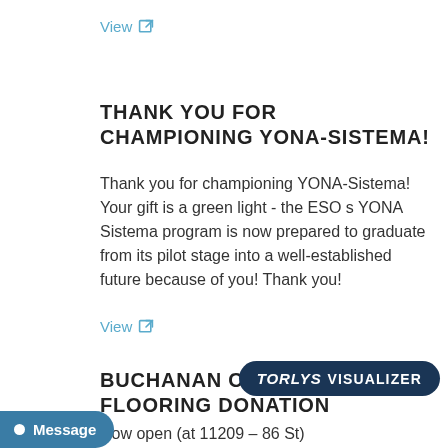View
THANK YOU FOR CHAMPIONING YONA-SISTEMA!
Thank you for championing YONA-Sistema! Your gift is a green light - the ESO s YONA Sistema program is now prepared to graduate from its pilot stage into a well-established future because of you! Thank you!
View
BUCHANAN CENTRE FLOORING DONATION
Now open (at 11209 – 86 St)...me of Parkinson Alberta in the Edmonton Region, and is designed to be a hub for living well with